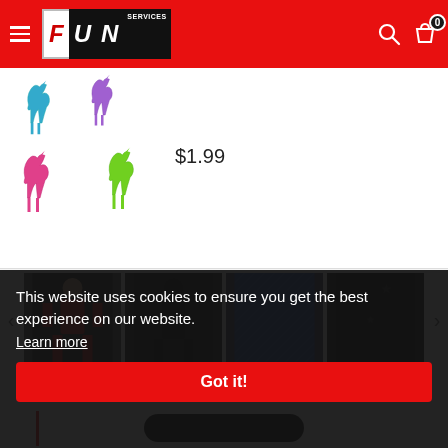[Figure (screenshot): Fun Services website header with red background, hamburger menu, FUN SERVICES logo, search icon, bag icon with 0 badge]
[Figure (photo): Colorful unicorn/horse figurines in pink, purple, and green on a white background]
$1.99
[Figure (screenshot): Product thumbnails carousel showing costume products with left and right arrows]
This website uses cookies to ensure you get the best experience on our website.
Learn more
Got it!